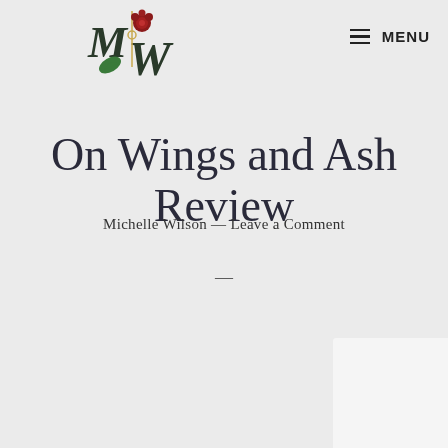MENU
[Figure (logo): Mw logo with decorative script letters M and W with a golden compass/pin in the center, green leaf on the left, red chrysanthemum on the right]
On Wings and Ash Review
Michelle Wilson — Leave a Comment
—